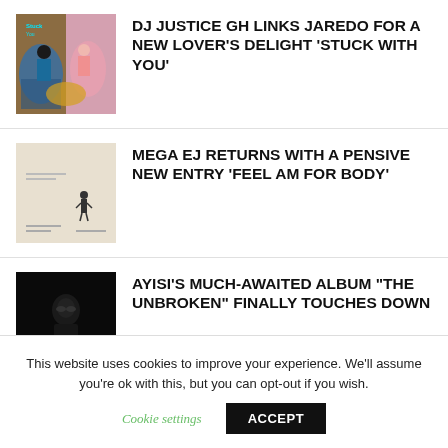[Figure (photo): Album cover for 'Stuck With You' featuring DJ Justice GH and Jaredo – two figures against a colorful background with text overlay]
DJ JUSTICE GH LINKS JAREDO FOR A NEW LOVER'S DELIGHT 'STUCK WITH YOU'
[Figure (photo): Album cover for 'Feel Am For Body' by Mega EJ – minimalist beige background with a lone figure standing]
MEGA EJ RETURNS WITH A PENSIVE NEW ENTRY 'FEEL AM FOR BODY'
[Figure (photo): Album cover 'The Unbroken' by Ayisi – dark/black background with faint portrait of artist]
AYISI'S MUCH-AWAITED ALBUM "THE UNBROKEN" FINALLY TOUCHES DOWN
This website uses cookies to improve your experience. We'll assume you're ok with this, but you can opt-out if you wish. Cookie settings ACCEPT